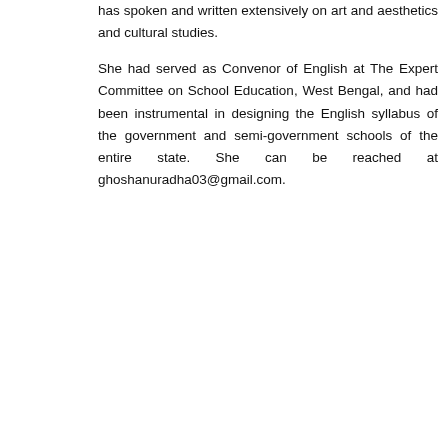has spoken and written extensively on art and aesthetics and cultural studies.
She had served as Convenor of English at The Expert Committee on School Education, West Bengal, and had been instrumental in designing the English syllabus of the government and semi-government schools of the entire state. She can be reached at ghoshanuradha03@gmail.com.